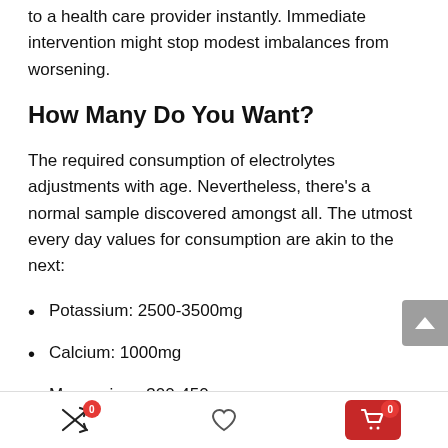to a health care provider instantly. Immediate intervention might stop modest imbalances from worsening.
How Many Do You Want?
The required consumption of electrolytes adjustments with age. Nevertheless, there’s a normal sample discovered amongst all. The utmost every day values for consumption are akin to the next:
Potassium: 2500-3500mg
Calcium: 1000mg
Magnesium: 300-450mg